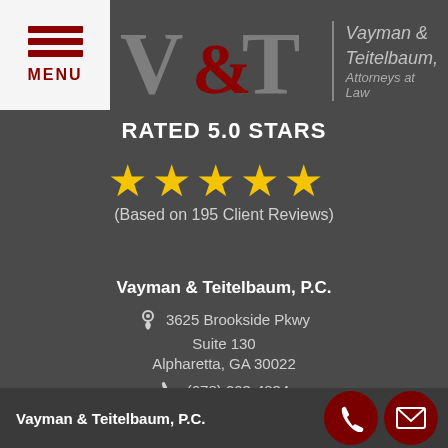[Figure (logo): Vayman & Teitelbaum law firm logo with V&T monogram and firm name]
RATED 5.0 STARS
[Figure (other): 5 gold star icons representing 5.0 rating]
(Based on 195 Client Reviews)
Vayman & Teitelbaum, P.C.
3625 Brookside Pkwy
Suite 130
Alpharetta, GA 30022
(678) 203-4834
9am to 6pm Mon-Fri
Vayman & Teitelbaum, P.C.